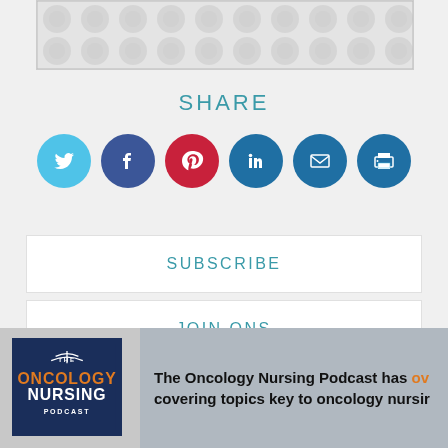[Figure (other): Decorative image area with dot/circle pattern background, light gray]
SHARE
[Figure (infographic): Row of social media icon circles: Twitter (light blue), Facebook (dark blue), Pinterest (red), LinkedIn (blue), Email (blue), Print (blue)]
SUBSCRIBE
JOIN ONS
[Figure (infographic): The Oncology Nursing Podcast logo on dark blue background with orange ONCOLOGY text, white NURSING text]
The Oncology Nursing Podcast has ov covering topics key to oncology nursir